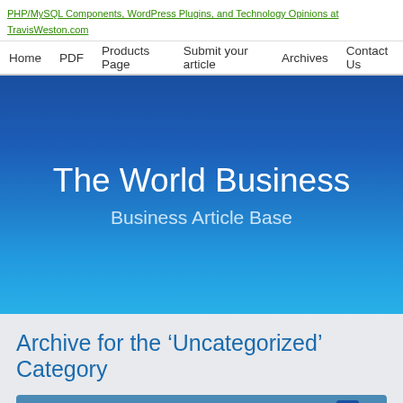PHP/MySQL Components, WordPress Plugins, and Technology Opinions at TravisWeston.com
Home  PDF  Products Page  Submit your article  Archives  Contact Us
[Figure (illustration): Blue gradient hero banner with site title 'The World Business' and subtitle 'Business Article Base']
The World Business
Business Article Base
Archive for the ‘Uncategorized’ Category
Page 16 of 23  <  1  ...  4  5  6  7  8  9  10  11  12  13  14  15  16  17